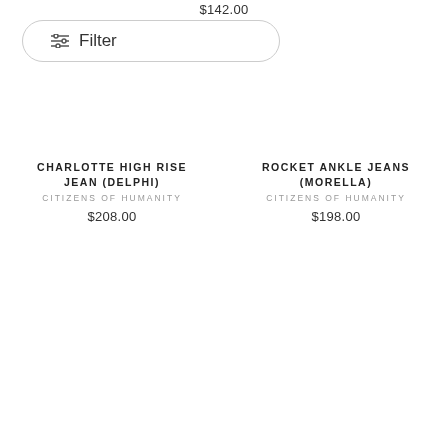$142.00
Filter
CHARLOTTE HIGH RISE JEAN (DELPHI)
CITIZENS OF HUMANITY
$208.00
ROCKET ANKLE JEANS (MORELLA)
CITIZENS OF HUMANITY
$198.00